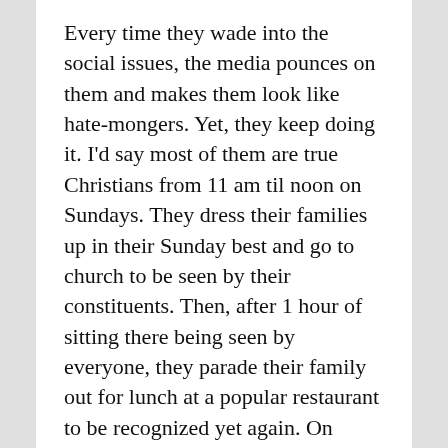Every time they wade into the social issues, the media pounces on them and makes them look like hate-mongers. Yet, they keep doing it. I'd say most of them are true Christians from 11 am til noon on Sundays. They dress their families up in their Sunday best and go to church to be seen by their constituents. Then, after 1 hour of sitting there being seen by everyone, they parade their family out for lunch at a popular restaurant to be recognized yet again. On Monday, back on Jones Street, their pettiness shows again, infighting within their own party. Seems to me that at least McCrory isn't getting bogged down with social issues that hurt the overall image of the party. He is focusing on NC 's economy. You knew when he was elected that he